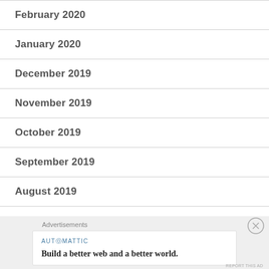February 2020
January 2020
December 2019
November 2019
October 2019
September 2019
August 2019
July 2019
June 2019
Advertisements
AUTOMATTIC
Build a better web and a better world.